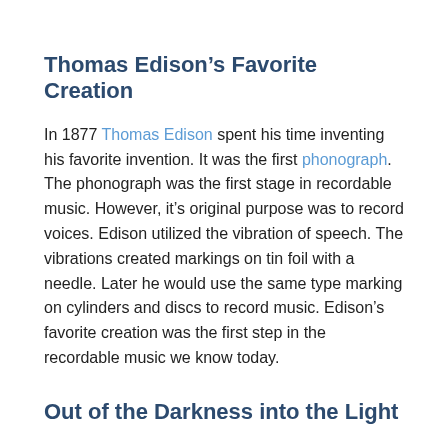Thomas Edison’s Favorite Creation
In 1877 Thomas Edison spent his time inventing his favorite invention. It was the first phonograph. The phonograph was the first stage in recordable music. However, it’s original purpose was to record voices. Edison utilized the vibration of speech. The vibrations created markings on tin foil with a needle. Later he would use the same type marking on cylinders and discs to record music. Edison’s favorite creation was the first step in the recordable music we know today.
Out of the Darkness into the Light